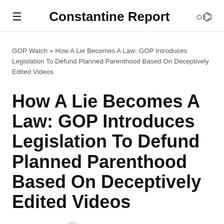Constantine Report
GOP Watch » How A Lie Becomes A Law: GOP Introduces Legislation To Defund Planned Parenthood Based On Deceptively Edited Videos
How A Lie Becomes A Law: GOP Introduces Legislation To Defund Planned Parenthood Based On Deceptively Edited Videos
August 14, 2015   1